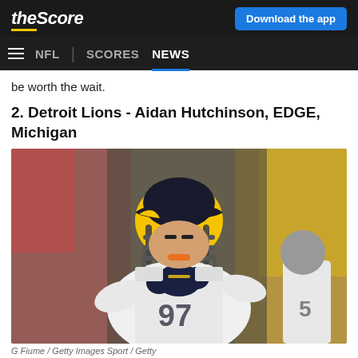theScore | Download the app | NFL | SCORES | NEWS
be worth the wait.
2. Detroit Lions - Aidan Hutchinson, EDGE, Michigan
[Figure (photo): Aidan Hutchinson wearing Michigan Wolverines white football uniform with navy and gold helmet, BIG logo on chest, mouthguard in, clapping hands together on field]
G Fiume / Getty Images Sport / Getty